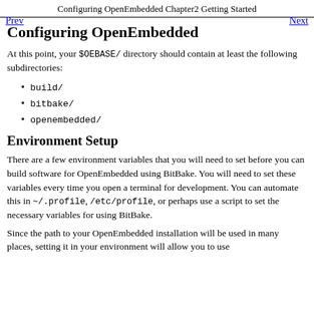Configuring OpenEmbedded
Chapter2 Getting Started
Configuring OpenEmbedded
At this point, your $OEBASE/ directory should contain at least the following subdirectories:
build/
bitbake/
openembedded/
Environment Setup
There are a few environment variables that you will need to set before you can build software for OpenEmbedded using BitBake. You will need to set these variables every time you open a terminal for development. You can automate this in ~/.profile, /etc/profile, or perhaps use a script to set the necessary variables for using BitBake.
Since the path to your OpenEmbedded installation will be used in many places, setting it in your environment will allow you to use